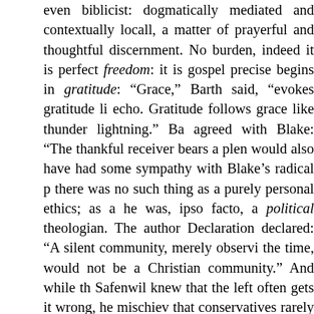even biblicist: dogmatically mediated and contextually located, all, a matter of prayerful and thoughtful discernment. No burden, indeed it is perfect freedom: it is gospel precisely begins in gratitude: “Grace,” Barth said, “evokes gratitude like echo. Gratitude follows grace like thunder lightning.” Barth agreed with Blake: “The thankful receiver bears a plentiful would also have had some sympathy with Blake’s radical position there was no such thing as a purely personal ethics; as a theologian he was, ipso facto, a political theologian. The author of the Barmen Declaration declared: “A silent community, merely observing the time, would not be a Christian community.” And while the pastor of Safenwil knew that the left often gets it wrong, he mischievously added that conservatives rarely get it right.
6. Karl Barth was a scientific theologian. Not that Barth embraced natural sciences, he didn’t. Indeed his disciple Thomas Torrance noted Barth’s indifference to science, and his conviction that science and theology are not only non-interactive but non-complementary disciplines.